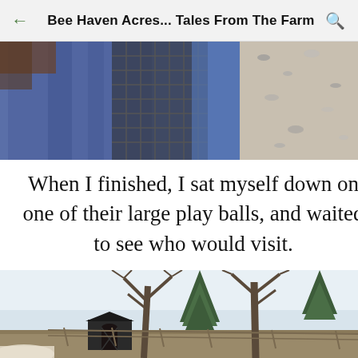Bee Haven Acres... Tales From The Farm
[Figure (photo): Close-up photo showing a blue fabric/blanket against a dark metal fence or grid, with gravel/woodchips visible on the right side]
When I finished, I sat myself down on one of their large play balls, and waited to see who would visit.
[Figure (photo): Outdoor farm scene with a small black barn/shelter structure in the foreground, tall bare deciduous trees and green pine trees in the background, pale sky, and a white animal (horse) visible at the bottom left]